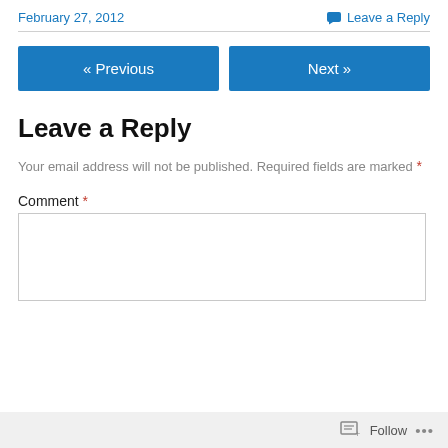February 27, 2012
Leave a Reply
« Previous
Next »
Leave a Reply
Your email address will not be published. Required fields are marked *
Comment *
Follow ...